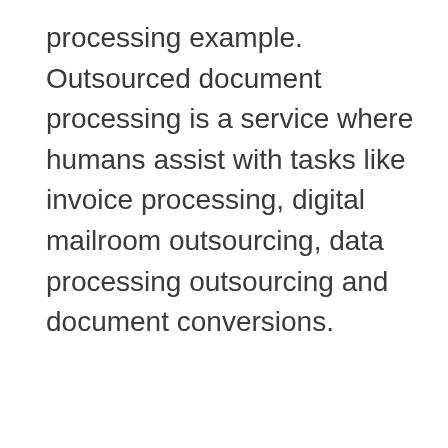processing example. Outsourced document processing is a service where humans assist with tasks like invoice processing, digital mailroom outsourcing, data processing outsourcing and document conversions.